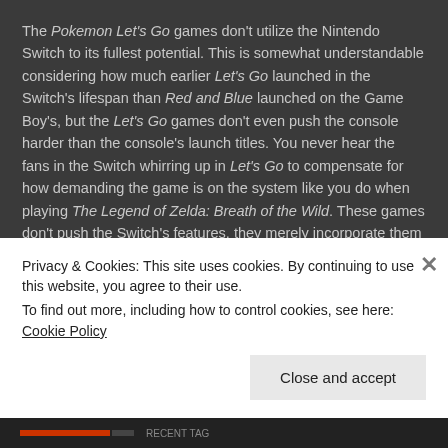The Pokemon Let's Go games don't utilize the Nintendo Switch to its fullest potential. This is somewhat understandable considering how much earlier Let's Go launched in the Switch's lifespan than Red and Blue launched on the Game Boy's, but the Let's Go games don't even push the console harder than the console's launch titles. You never hear the fans in the Switch whirring up in Let's Go to compensate for how demanding the game is on the system like you do when playing The Legend of Zelda: Breath of the Wild. These games don't push the Switch's features, they merely incorporate them into what is now the well tested Pokemon formula.
Granted, this does make the Pokemon Let's Go games the best looking in the franchise by far and it's a genuine treat to
Privacy & Cookies: This site uses cookies. By continuing to use this website, you agree to their use.
To find out more, including how to control cookies, see here: Cookie Policy